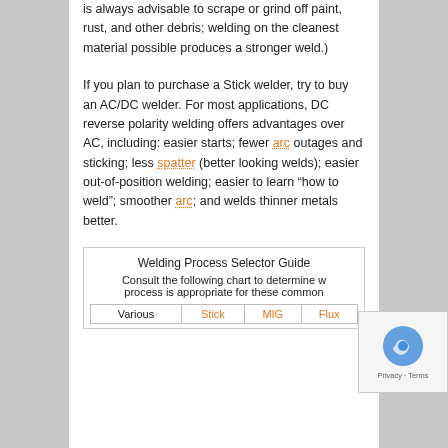is always advisable to scrape or grind off paint, rust, and other debris; welding on the cleanest material possible produces a stronger weld.)
If you plan to purchase a Stick welder, try to buy an AC/DC welder. For most applications, DC reverse polarity welding offers advantages over AC, including: easier starts; fewer arc outages and sticking; less spatter (better looking welds); easier out-of-position welding; easier to learn “how to weld”; smoother arc; and welds thinner metals better.
Welding Process Selector Guide
Consult the following chart to determine which welding process is appropriate for these common
| Various | Stick | MIG | Flux |
| --- | --- | --- | --- |